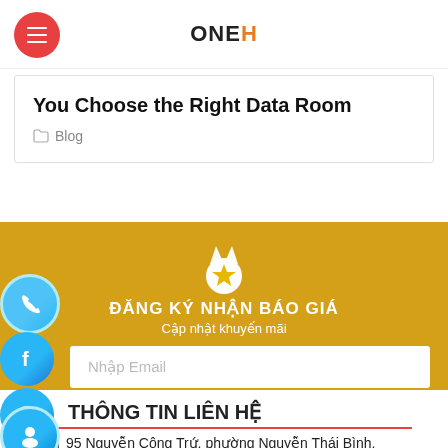ONEH
You Choose the Right Data Room
Blog
ĐĂNG KÝ NHẬN BÁO GIÁ
Cập nhật khuyến mãi
Nhập Email
Số điện thoại
Yêu cầu
THÔNG TIN LIÊN HỆ
95 Nguyễn Công Trứ, phường Nguyễn Thái Bình,